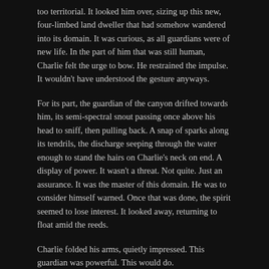too territorial. It looked him over, sizing up this new, four-limbed land dweller that had somehow wandered into its domain. It was curious, as all guardians were of new life. In the part of him that was still human, Charlie felt the urge to bow. He restrained the impulse. It wouldn't have understood the gesture anyways.
For its part, the guardian of the canyon drifted towards him, its semi-spectral snout passing once above his head to sniff, then pulling back. A snap of sparks along its tendrils, the discharge seeping through the water enough to stand the hairs on Charlie's neck on end. A display of power. It wasn't a threat. Not quite. Just an assurance. It was the master of this domain. He was to consider himself warned. Once that was done, the spirit seemed to lose interest. It looked away, returning to float amid the reeds.
Charlie folded his arms, quietly impressed. This guardian was powerful. This would do.
Another short stream of images through the song, and his